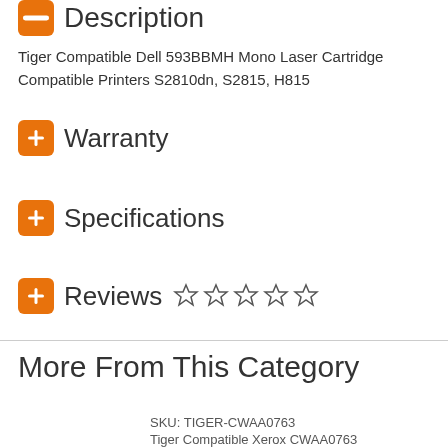Description
Tiger Compatible Dell 593BBMH Mono Laser Cartridge Compatible Printers S2810dn, S2815, H815
Warranty
Specifications
Reviews
More From This Category
SKU: TIGER-CWAA0763
Tiger Compatible Xerox CWAA0763